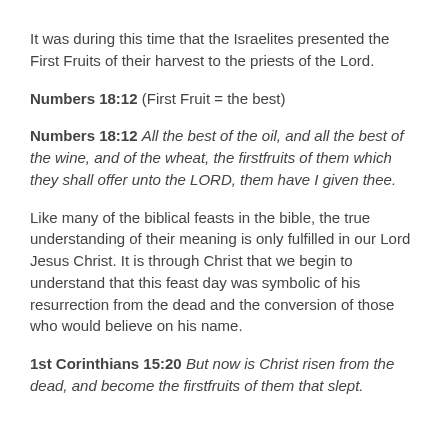It was during this time that the Israelites presented the First Fruits of their harvest to the priests of the Lord.
Numbers 18:12 (First Fruit = the best)
Numbers 18:12 All the best of the oil, and all the best of the wine, and of the wheat, the firstfruits of them which they shall offer unto the LORD, them have I given thee.
Like many of the biblical feasts in the bible, the true understanding of their meaning is only fulfilled in our Lord Jesus Christ. It is through Christ that we begin to understand that this feast day was symbolic of his resurrection from the dead and the conversion of those who would believe on his name.
1st Corinthians 15:20 But now is Christ risen from the dead, and become the firstfruits of them that slept.